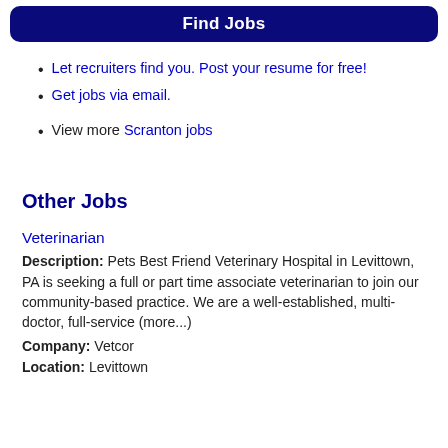Find Jobs
Let recruiters find you. Post your resume for free!
Get jobs via email.
View more Scranton jobs
Other Jobs
Veterinarian
Description: Pets Best Friend Veterinary Hospital in Levittown, PA is seeking a full or part time associate veterinarian to join our community-based practice. We are a well-established, multi-doctor, full-service (more...)
Company: Vetcor
Location: Levittown